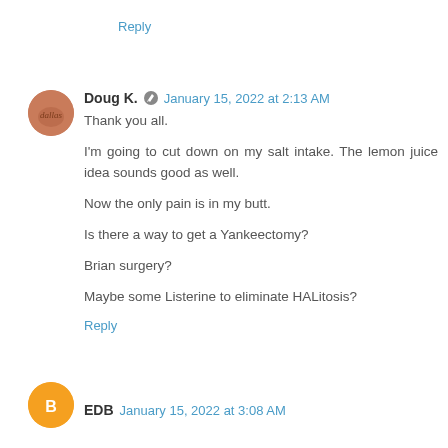Reply
Doug K. January 15, 2022 at 2:13 AM
Thank you all.

I'm going to cut down on my salt intake. The lemon juice idea sounds good as well.

Now the only pain is in my butt.

Is there a way to get a Yankeectomy?

Brian surgery?

Maybe some Listerine to eliminate HALitosis?
Reply
EDB January 15, 2022 at 3:08 AM